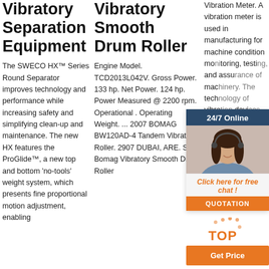Vibratory Separation Equipment
The SWECO HX™ Series Round Separator improves technology and performance while increasing safety and simplifying clean-up and maintenance. The new HX features the ProGlide™, a new top and bottom 'no-tools' weight system, which presents fine proportional motion adjustment, enabling
Vibratory Smooth Drum Roller
Engine Model. TCD2013L042V. Gross Power. 133 hp. Net Power. 124 hp. Power Measured @ 2200 rpm. Operational . Operating Weight. ... 2007 BOMAG BW120AD-4 Tandem Vibratory Roller. 2907 DUBAI, ARE. See Bomag Vibratory Smooth Drum Roller
Vibration Meter. A vibration meter is used in manufacturing for machine condition monitoring, testing, and assurance of machinery. The technology of vibration devices can source analysis. A vibration meter also can be used in civil
[Figure (other): 24/7 Online chat support widget with agent photo, 'Click here for free chat!' text, and QUOTATION button]
[Figure (other): TOP navigation button with dots icon and Get Price orange button]